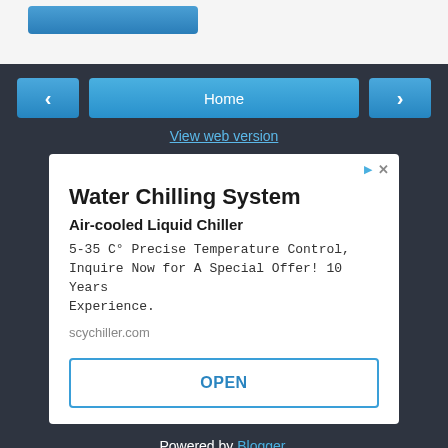[Figure (screenshot): Top bar with blue button partially visible]
Home
View web version
Water Chilling System
Air-cooled Liquid Chiller
5-35 C° Precise Temperature Control, Inquire Now for A Special Offer! 10 Years Experience.
scychiller.com
OPEN
Powered by Blogger.